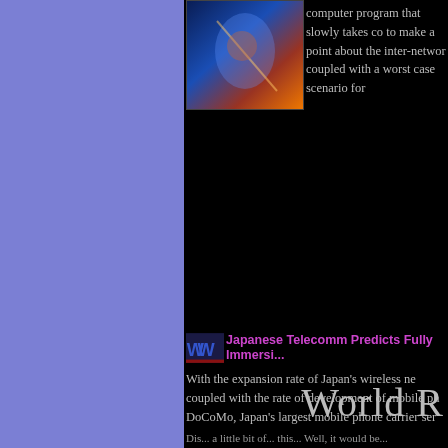[Figure (illustration): Colorful illustration with figures, blue tones and orange/red highlights, appears to be a tech/network themed image]
computer program that slowly takes co... to make a point about the inter-networ... coupled with a worst case scenario for...
Japanese Telecomm Predicts Fully Immersi...
With the expansion rate of Japan's wireless ne... coupled with the rate of development of mobile ph... DoCoMo, Japan's largest mobile phone carrier ser...
Horseracing the Augmented Way
Traditionally in horse-racing, there is a perso... binoculars, and announces the positions of the hor... method of tracking produces rather a large margin...
World R...
Dis... a little bit of... this... Well, it would be...